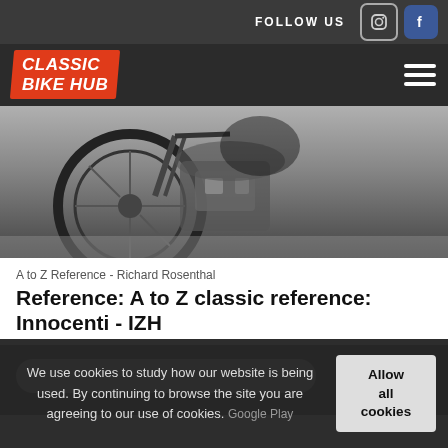FOLLOW US
[Figure (logo): Classic Bike Hub logo in orange italic block]
[Figure (photo): Black and white close-up photo of a classic motorcycle engine and wheel]
A to Z Reference - Richard Rosenthal
Reference: A to Z classic reference: Innocenti - IZH
We use cookies to study how our website is being used. By continuing to browse the site you are agreeing to our use of cookies.